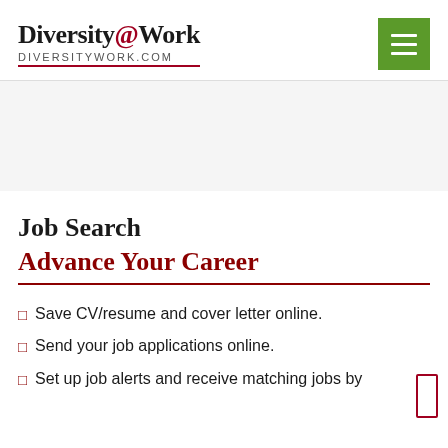Diversity@Work DIVERSITYWORK.COM
Job Search
Advance Your Career
Save CV/resume and cover letter online.
Send your job applications online.
Set up job alerts and receive matching jobs by email.